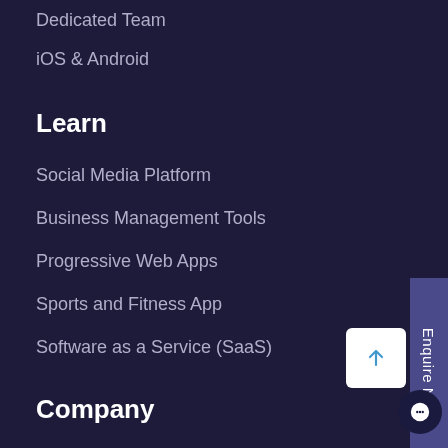Dedicated Team
iOS & Android
Learn
Social Media Platform
Business Management Tools
Progressive Web Apps
Sports and Fitness App
Software as a Service (SaaS)
Company
About Company